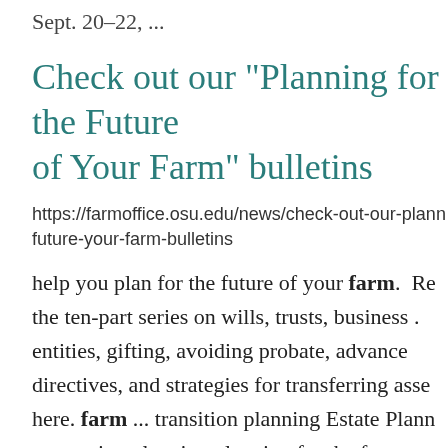Sept. 20–22, ...
Check out our "Planning for the Future of Your Farm" bulletins
https://farmoffice.osu.edu/news/check-out-our-planning-future-your-farm-bulletins
help you plan for the future of your farm.  Read the ten-part series on wills, trusts, business entities, gifting, avoiding probate, advance directives, and strategies for transferring assets here. farm ... transition planning Estate Planning succession planning planning for the future of your farm ...
Landowner crop lease termination